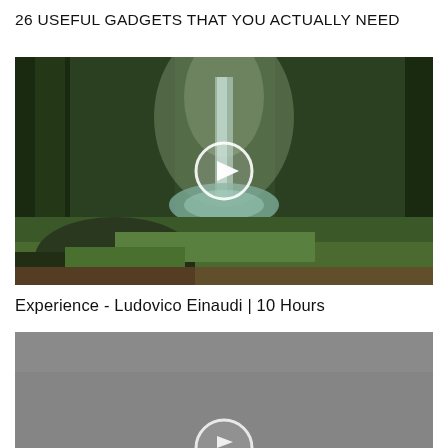[Figure (screenshot): Partial thumbnail strip at top of page showing green and brown/orange video thumbnails cropped]
26 USEFUL GADGETS THAT YOU ACTUALLY NEED
[Figure (screenshot): Video thumbnail showing a lush tropical forest scene with a waterfall flowing into a still pool, with a circular play button overlay in the center]
Experience - Ludovico Einaudi | 10 Hours
[Figure (screenshot): Partial video thumbnail showing a gray/overcast scene with a partially visible play button at the bottom]